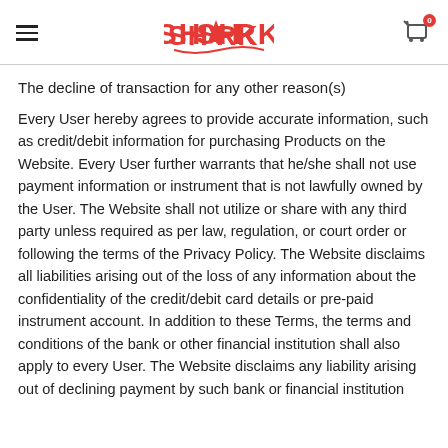SHARK (logo) with hamburger menu and cart icon
The decline of transaction for any other reason(s)
Every User hereby agrees to provide accurate information, such as credit/debit information for purchasing Products on the Website. Every User further warrants that he/she shall not use payment information or instrument that is not lawfully owned by the User. The Website shall not utilize or share with any third party unless required as per law, regulation, or court order or following the terms of the Privacy Policy. The Website disclaims all liabilities arising out of the loss of any information about the confidentiality of the credit/debit card details or pre-paid instrument account. In addition to these Terms, the terms and conditions of the bank or other financial institution shall also apply to every User. The Website disclaims any liability arising out of declining payment by such bank or financial institution